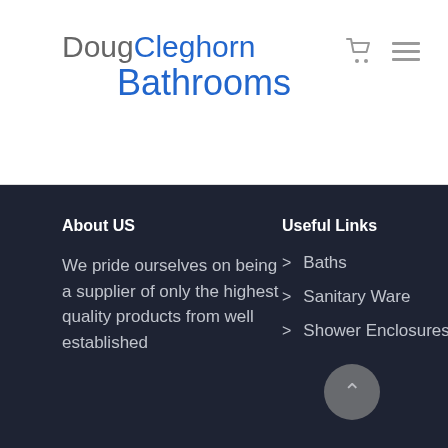DougCleghorn Bathrooms
About US
We pride ourselves on being a supplier of only the highest quality products from well established
Useful Links
> Baths
> Sanitary Ware
> Shower Enclosures